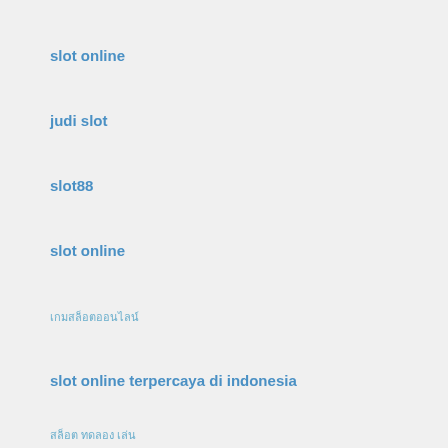slot online
judi slot
slot88
slot online
เกมสล็อตออนไลน์
slot online terpercaya di indonesia
สล็อต ทดลอง เล่น